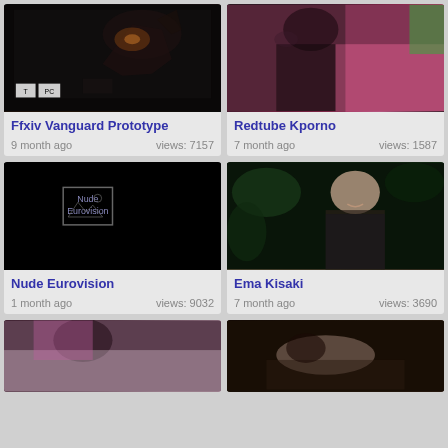[Figure (photo): Dark fantasy game cover art with dragon/creature]
Ffxiv Vanguard Prototype
9 month ago   views: 7157
[Figure (photo): Woman with tattoo in pink setting]
Redtube Kporno
7 month ago   views: 1587
[Figure (photo): Broken image placeholder labeled Nude Eurovision]
Nude Eurovision
1 month ago   views: 9032
[Figure (photo): Young woman smiling outdoors]
Ema Kisaki
7 month ago   views: 3690
[Figure (photo): Woman in pink/lavender setting, partial view]
[Figure (photo): Person in dark outdoor setting, partial view]